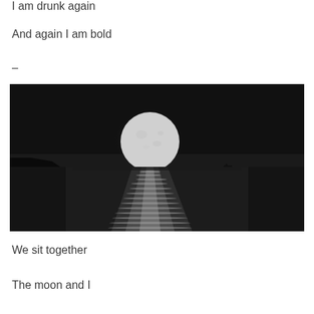I am drunk again
And again I am bold
–
[Figure (photo): Black and white photograph of a large full moon rising over a dark ocean at night, with moonlight reflecting on the water surface, and a silhouette of a hillside on the left.]
We sit together
The moon and I